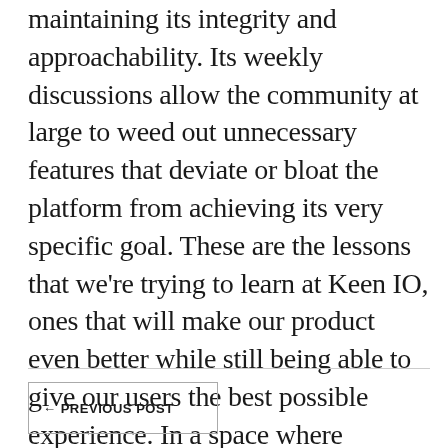maintaining its integrity and approachability. Its weekly discussions allow the community at large to weed out unnecessary features that deviate or bloat the platform from achieving its very specific goal. These are the lessons that we're trying to learn at Keen IO, ones that will make our product even better while still being able to give our users the best possible experience. In a space where technology companies are a dime-a-dozen, it's the users that really make all the difference.
← PREVIOUS POST